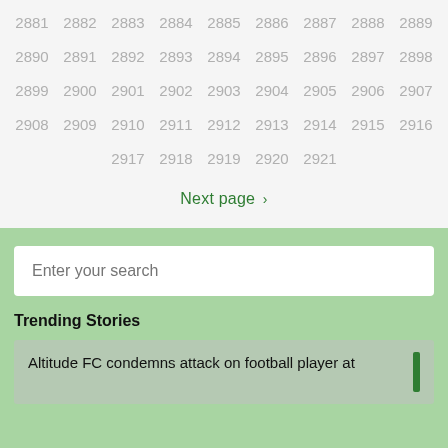2881 2882 2883 2884 2885 2886 2887 2888 2889
2890 2891 2892 2893 2894 2895 2896 2897 2898
2899 2900 2901 2902 2903 2904 2905 2906 2907
2908 2909 2910 2911 2912 2913 2914 2915 2916
2917 2918 2919 2920 2921
Next page ›
Enter your search
Trending Stories
Altitude FC condemns attack on football player at